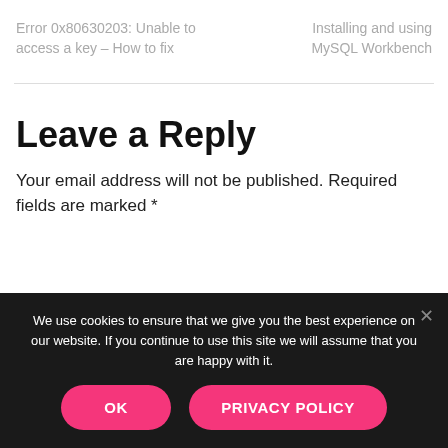Error 0x80630203: Unable to access a key – How to fix
Installing and using MySQL Workbench
Leave a Reply
Your email address will not be published. Required fields are marked *
We use cookies to ensure that we give you the best experience on our website. If you continue to use this site we will assume that you are happy with it.
OK
PRIVACY POLICY